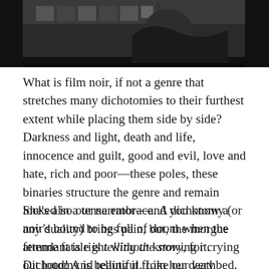[Figure (photo): Black and white photograph, partial view of a scene, dark tones at top of page]
What is film noir, if not a genre that stretches many dichotomies to their furthest extent while placing them side by side? Darkness and light, death and life, innocence and guilt, good and evil, love and hate, rich and poor—these poles, these binaries structure the genre and remain locked in a tense embrace. A dichotomy (or any duality) brings pain, but, the morgue attendant is right without knowing it. Dichotomy is beautiful. Like our very unconventional protagonist, Margot.
She's also our narrator—and you know a noir's bound to be full of doom when the femme fatale is telling the story, for crying out loud! And telling it from her deathbed. In the first five minutes of the movie, she gets shot by a man's